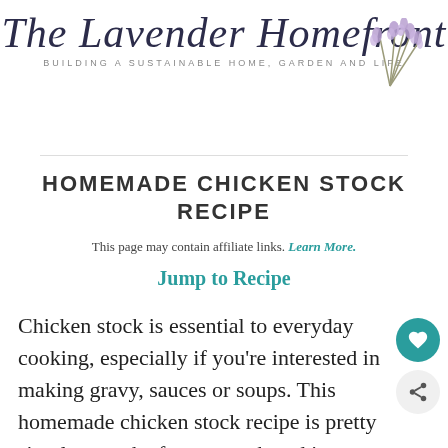[Figure (logo): The Lavender Homefront script logo with lavender sprig illustration and tagline 'BUILDING A SUSTAINABLE HOME, GARDEN AND LIFE']
HOMEMADE CHICKEN STOCK RECIPE
This page may contain affiliate links. Learn More.
Jump to Recipe
Chicken stock is essential to everyday cooking, especially if you're interested in making gravy, sauces or soups. This homemade chicken stock recipe is pretty simple to make from scratch and is undoubtedly delicious.